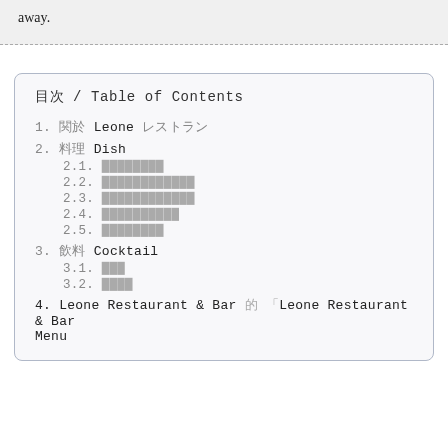away.
目次 / Table of Contents
1. 関於 Leone レストラン
2. 料理 Dish
2.1. メニュー説明
2.2. メニュー詳細説明
2.3. メニュー詳細説明
2.4. メニュー詳細説明
2.5. メニュー説明
3. 飲料 Cocktail
3.1. 飲料
3.2. 飲料詳細
4. Leone Restaurant & Bar 的 「Leone Restaurant & Bar Menu